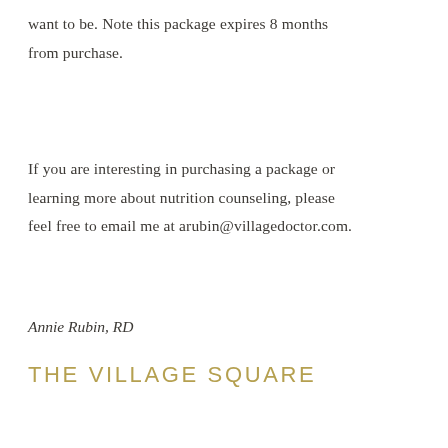want to be. Note this package expires 8 months from purchase.
If you are interesting in purchasing a package or learning more about nutrition counseling, please feel free to email me at arubin@villagedoctor.com.
Annie Rubin, RD
THE VILLAGE SQUARE